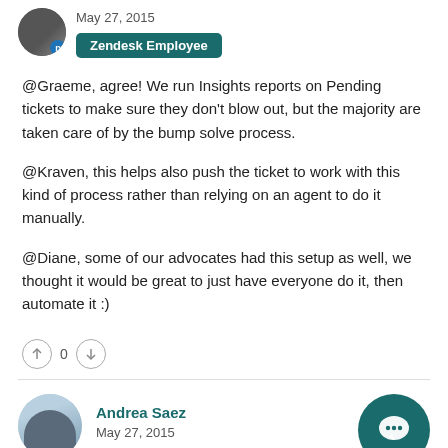May 27, 2015
Zendesk Employee
@Graeme, agree! We run Insights reports on Pending tickets to make sure they don't blow out, but the majority are taken care of by the bump solve process.

@Kraven, this helps also push the ticket to work with this kind of process rather than relying on an agent to do it manually.

@Diane, some of our advocates had this setup as well, we thought it would be great to just have everyone do it, then automate it :)
0
Andrea Saez
May 27, 2015